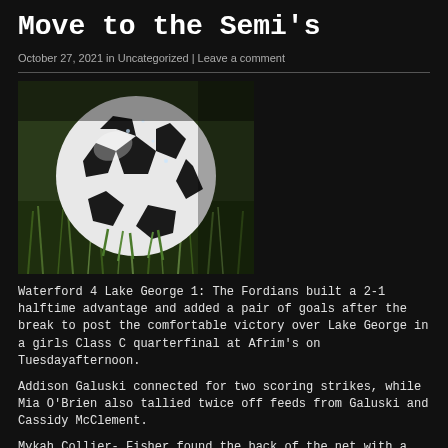Move to the Semi's
October 27, 2021 in Uncategorized | Leave a comment
[Figure (photo): A black and white soccer ball resting on green grass, photographed close up]
Waterford 4 Lake George 1: The Fordians built a 2-1 halftime advantage and added a pair of goals after the break to post the comfortable victory over Lake George in a girls Class C quarterfinal at Afrim's on Tuesdayafternoon.
Addison Galuski connected for two scoring strikes, while Mia O'Brien also tallied twice off feeds from Galuski and Cassidy McClement.
Mykah Collier- Fisher found the back of the net with a first half score for Lake George.
Fordian keeper Maddie Atuned saved five shots, for the unbeaten Waterford